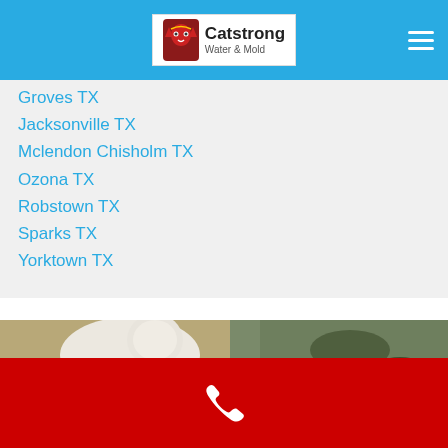Catstrong Water & Mold
Groves TX
Jacksonville TX
Mclendon Chisholm TX
Ozona TX
Robstown TX
Sparks TX
Yorktown TX
[Figure (photo): Mold remediation worker in white protective suit working on mold-covered wall]
Phone call button